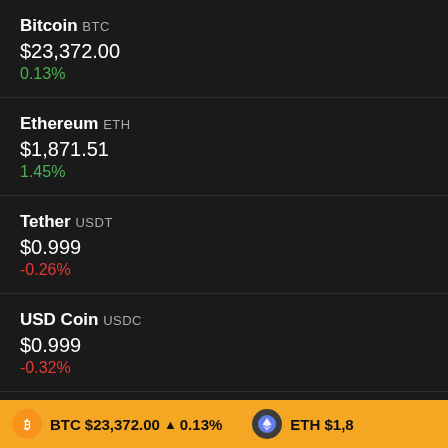Bitcoin BTC
$23,372.00
0.13%
Ethereum ETH
$1,871.51
1.45%
Tether USDT
$0.999
-0.26%
USD Coin USDC
$0.999
-0.32%
BNB BNB
$303.85
-1.58%
BTC $23,372.00 ▲ 0.13%   ETH $1,8...